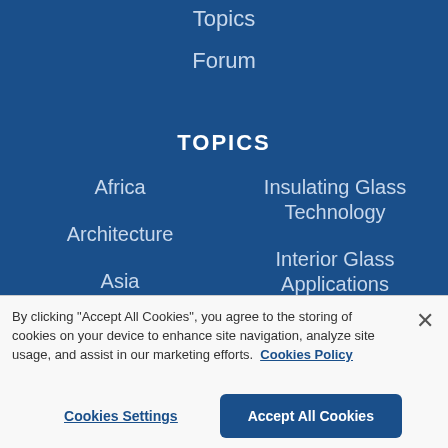Topics
Forum
TOPICS
Africa
Insulating Glass Technology
Architecture
Interior Glass Applications
Asia
China
Laminated Glass
By clicking "Accept All Cookies", you agree to the storing of cookies on your device to enhance site navigation, analyze site usage, and assist in our marketing efforts.  Cookies Policy
Cookies Settings
Accept All Cookies